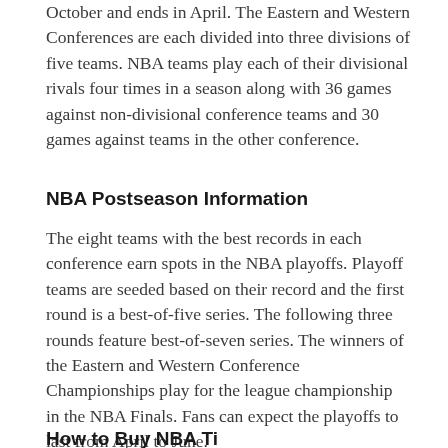October and ends in April. The Eastern and Western Conferences are each divided into three divisions of five teams. NBA teams play each of their divisional rivals four times in a season along with 36 games against non-divisional conference teams and 30 games against teams in the other conference.
NBA Postseason Information
The eight teams with the best records in each conference earn spots in the NBA playoffs. Playoff teams are seeded based on their record and the first round is a best-of-five series. The following three rounds feature best-of-seven series. The winners of the Eastern and Western Conference Championships play for the league championship in the NBA Finals. Fans can expect the playoffs to last from April to June.
How to Buy NBA Tickets